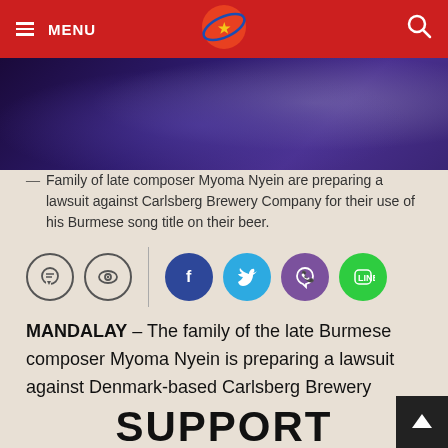MENU
[Figure (photo): Dark purple-toned photo, likely showing a bottle or beverage item in dim lighting]
— Family of late composer Myoma Nyein are preparing a lawsuit against Carlsberg Brewery Company for their use of his Burmese song title on their beer.
[Figure (infographic): Social sharing icons row: comment bubble, eye/view icon, vertical separator, Facebook, Twitter, Viber, LINE]
MANDALAY – The family of the late Burmese composer Myoma Nyein is preparing a lawsuit against Denmark-based Carlsberg Brewery Company for their use of his Burmese song title on their product, Tuborg beer.
SUPPORT